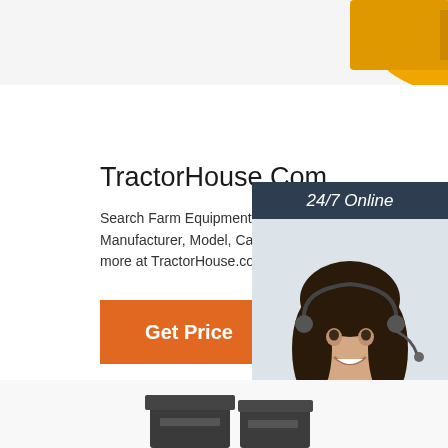[Figure (photo): Partial view of yellow farm/construction equipment at top of page]
TractorHouse.Com
Search Farm Equipment by Manufacturer, Model, Category and more at TractorHouse.com.
[Figure (illustration): Orange 'Get Price' button]
[Figure (infographic): Side ad panel with '24/7 Online' header, photo of smiling woman with headset, 'Click here for free chat!' text, and orange QUOTATION button]
[Figure (photo): Partial view of dark farm equipment at bottom of page]